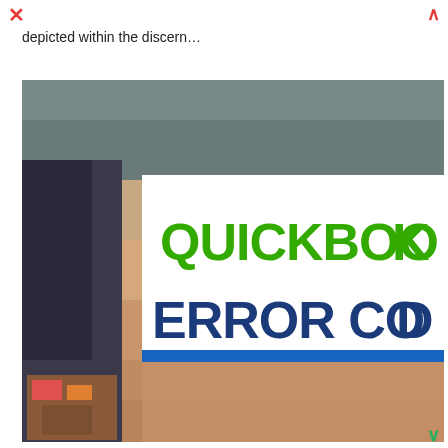depicted within the discern…
[Figure (illustration): Promotional banner image showing 'QUICKBOOKS ERROR CODE' text overlaid on a blurred background of a person typing on a laptop keyboard. The word QUICKBOOKS is in bold green text and ERROR CODE is in bold dark blue text on a white rectangular banner.]